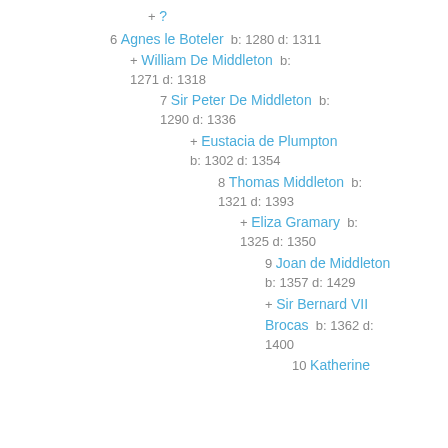+ ?
6 Agnes le Boteler  b: 1280 d: 1311
+ William De Middleton  b: 1271 d: 1318
7 Sir Peter De Middleton  b: 1290 d: 1336
+ Eustacia de Plumpton  b: 1302 d: 1354
8 Thomas Middleton  b: 1321 d: 1393
+ Eliza Gramary  b: 1325 d: 1350
9 Joan de Middleton  b: 1357 d: 1429
+ Sir Bernard VII Brocas  b: 1362 d: 1400
10 Katherine